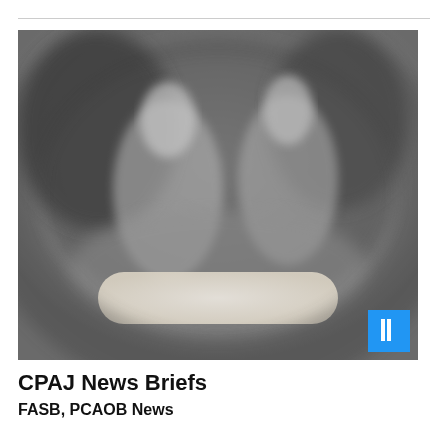[Figure (photo): Blurred/obscured photograph of people in a professional setting, shown in grayscale tones with a light-colored rounded rectangular shape in the lower center portion]
CPAJ News Briefs
FASB, PCAOB News